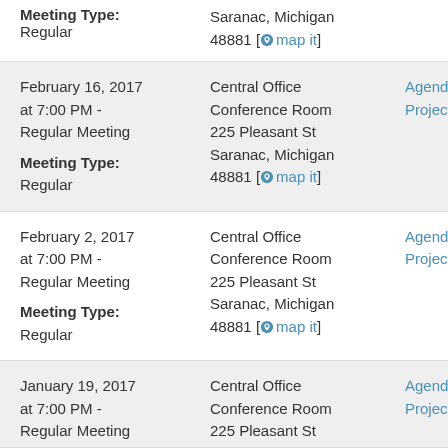Meeting Type: Regular | Saranac, Michigan 48881 [map it]
February 16, 2017 at 7:00 PM - Regular Meeting | Meeting Type: Regular | Central Office Conference Room 225 Pleasant St Saranac, Michigan 48881 [map it] | Agenda | Projector
February 2, 2017 at 7:00 PM - Regular Meeting | Meeting Type: Regular | Central Office Conference Room 225 Pleasant St Saranac, Michigan 48881 [map it] | Agenda | Projector
January 19, 2017 at 7:00 PM - Regular Meeting | Central Office Conference Room 225 Pleasant St | Agenda | Projector